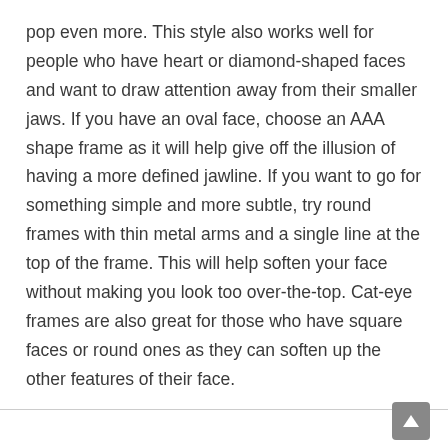pop even more. This style also works well for people who have heart or diamond-shaped faces and want to draw attention away from their smaller jaws. If you have an oval face, choose an AAA shape frame as it will help give off the illusion of having a more defined jawline. If you want to go for something simple and more subtle, try round frames with thin metal arms and a single line at the top of the frame. This will help soften your face without making you look too over-the-top. Cat-eye frames are also great for those who have square faces or round ones as they can soften up the other features of their face.